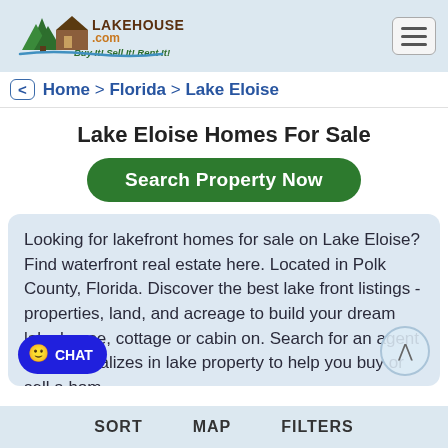[Figure (logo): LakeHouse.com logo with house and trees graphic, tagline: Buy It! Sell It! Rent It!]
< Home > Florida > Lake Eloise
Lake Eloise Homes For Sale
Search Property Now
Looking for lakefront homes for sale on Lake Eloise? Find waterfront real estate here. Located in Polk County, Florida. Discover the best lake front listings - properties, land, and acreage to build your dream lake house, cottage or cabin on. Search for an agent who specializes in lake property to help you buy or sell a home.
SORT   MAP   FILTERS